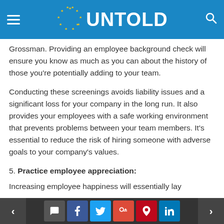UNTOLD (website navigation bar)
Grossman. Providing an employee background check will ensure you know as much as you can about the history of those you’re potentially adding to your team.
Conducting these screenings avoids liability issues and a significant loss for your company in the long run. It also provides your employees with a safe working environment that prevents problems between your team members. It’s essential to reduce the risk of hiring someone with adverse goals to your company’s values.
5. Practice employee appreciation:
Increasing employee happiness will essentially lay
Social share bar with navigation arrows